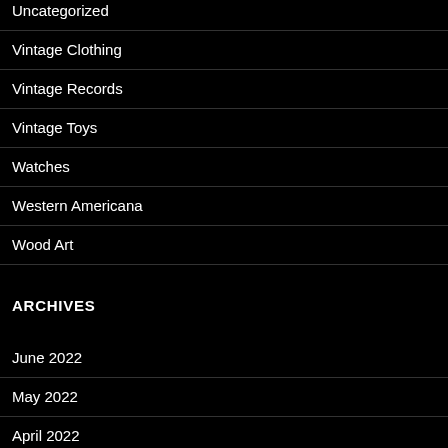Uncategorized
Vintage Clothing
Vintage Records
Vintage Toys
Watches
Western Americana
Wood Art
ARCHIVES
June 2022
May 2022
April 2022